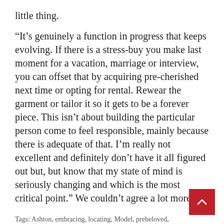little thing.
“It’s genuinely a function in progress that keeps evolving. If there is a stress-buy you make last moment for a vacation, marriage or interview, you can offset that by acquiring pre-cherished next time or opting for rental. Rewear the garment or tailor it so it gets to be a forever piece. This isn’t about building the particular person come to feel responsible, mainly because there is adequate of that. I’m really not excellent and definitely don’t have it all figured out but, but know that my state of mind is seriously changing and which is the most critical point.” We couldn’t agree a lot more.
Tags: Ashton, embracing, locating, Model, prebeloved, reli… Trend, Zawe